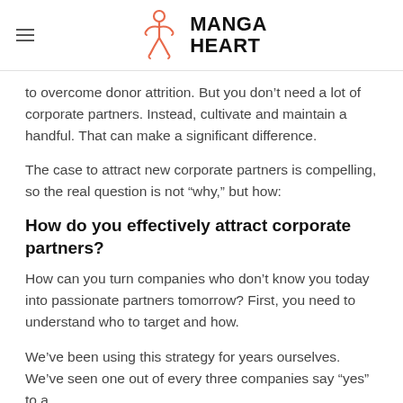MANGA HEART
to overcome donor attrition. But you don’t need a lot of corporate partners. Instead, cultivate and maintain a handful. That can make a significant difference.
The case to attract new corporate partners is compelling, so the real question is not “why,” but how:
How do you effectively attract corporate partners?
How can you turn companies who don’t know you today into passionate partners tomorrow? First, you need to understand who to target and how.
We’ve been using this strategy for years ourselves. We’ve seen one out of every three companies say “yes” to a